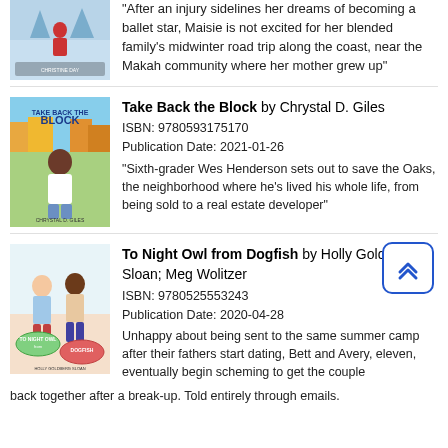[Figure (illustration): Book cover of a winter scene with a child in a red coat, partially visible at top]
"After an injury sidelines her dreams of becoming a ballet star, Maisie is not excited for her blended family's midwinter road trip along the coast, near the Makah community where her mother grew up"
[Figure (illustration): Book cover of Take Back the Block by Chrystal D. Giles showing a young Black boy in front of colorful neighborhood]
Take Back the Block by Chrystal D. Giles
ISBN: 9780593175170
Publication Date: 2021-01-26
"Sixth-grader Wes Henderson sets out to save the Oaks, the neighborhood where he's lived his whole life, from being sold to a real estate developer"
[Figure (illustration): Book cover of To Night Owl from Dogfish showing two girls with speech bubbles]
To Night Owl from Dogfish by Holly Goldberg Sloan; Meg Wolitzer
ISBN: 9780525553243
Publication Date: 2020-04-28
Unhappy about being sent to the same summer camp after their fathers start dating, Bett and Avery, eleven, eventually begin scheming to get the couple back together after a break-up. Told entirely through emails.